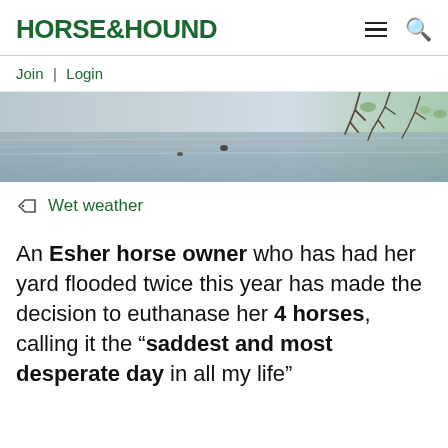HORSE&HOUND
Join | Login
[Figure (photo): A wide banner photo showing a flooded outdoor scene with bare tree branches against a pale sky, silvery-grey water visible.]
Wet weather
An Esher horse owner who has had her yard flooded twice this year has made the decision to euthanase her 4 horses, calling it the "saddest and most desperate day in all my life"